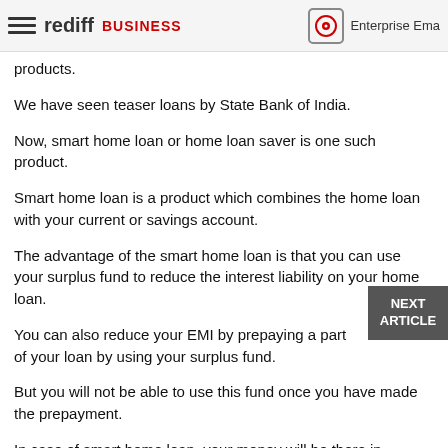rediff BUSINESS | Enterprise Email
products.
We have seen teaser loans by State Bank of India.
Now, smart home loan or home loan saver is one such product.
Smart home loan is a product which combines the home loan with your current or savings account.
The advantage of the smart home loan is that you can use your surplus fund to reduce the interest liability on your home loan.
You can also reduce your EMI by prepaying a part of your loan by using your surplus fund.
But you will not be able to use this fund once you have made the prepayment.
In case of smart home loan, your money will be there in